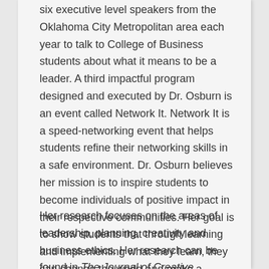six executive level speakers from the Oklahoma City Metropolitan area each year to talk to College of Business students about what it means to be a leader. A third impactful program designed and executed by Dr. Osburn is an event called Network It. Network It is a speed-networking event that helps students refine their networking skills in a safe environment. Dr. Osburn believes her mission is to inspire students to become individuals of positive impact in their respective communities. Her goal is to show students that through learning and implementing what they learn, they can change the world and make a difference.
Her research focuses on the areas of leadership, planning, creativity and business ethics. Her research can be found in The Journal of Creative Behavior, The Journal of...